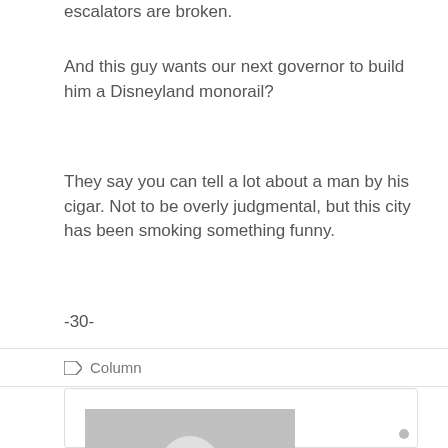escalators are broken.
And this guy wants our next governor to build him a Disneyland monorail?
They say you can tell a lot about a man by his cigar. Not to be overly judgmental, but this city has been smoking something funny.
-30-
Column
[Figure (photo): User avatar placeholder — grey silhouette of a person on grey background]